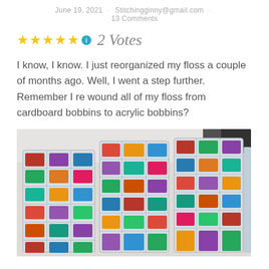June 19, 2021 · Stitchingginny@gmail.com · 13 Comments
★★★★★ ⓘ 2 Votes
I know, I know. I just reorganized my floss a couple of months ago. Well, I went a step further. Remember I re wound all of my floss from cardboard bobbins to acrylic bobbins?
[Figure (photo): Multiple clear plastic organizer boxes filled with colorful embroidery floss bobbins arranged in compartments, viewed from above on a white table.]